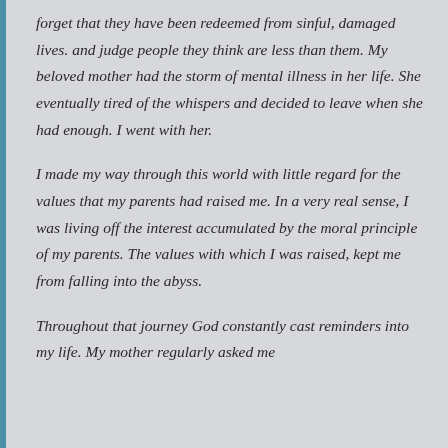forget that they have been redeemed from sinful, damaged lives. and judge people they think are less than them. My beloved mother had the storm of mental illness in her life. She eventually tired of the whispers and decided to leave when she had enough. I went with her.
I made my way through this world with little regard for the values that my parents had raised me. In a very real sense, I was living off the interest accumulated by the moral principle of my parents. The values with which I was raised, kept me from falling into the abyss.
Throughout that journey God constantly cast reminders into my life. My mother regularly asked me